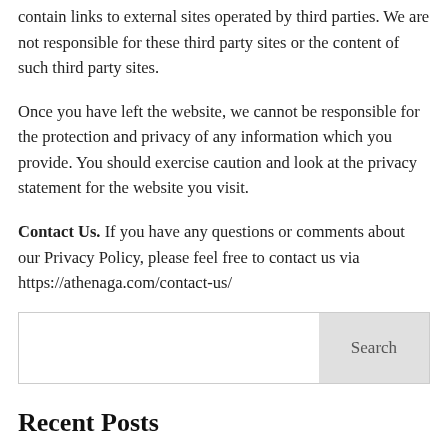contain links to external sites operated by third parties. We are not responsible for these third party sites or the content of such third party sites.
Once you have left the website, we cannot be responsible for the protection and privacy of any information which you provide. You should exercise caution and look at the privacy statement for the website you visit.
Contact Us. If you have any questions or comments about our Privacy Policy, please feel free to contact us via https://athenaga.com/contact-us/
[Figure (other): Search input box with Search button on the right]
Recent Posts
Social Impact Pulse Podcast Episode Release Featuring BIDUK!